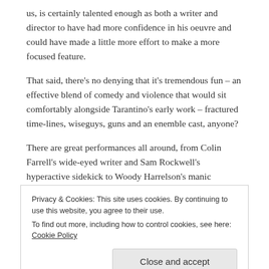us, is certainly talented enough as both a writer and director to have had more confidence in his oeuvre and could have made a little more effort to make a more focused feature.
That said, there’s no denying that it’s tremendous fun – an effective blend of comedy and violence that would sit comfortably alongside Tarantino’s early work – fractured time-lines, wiseguys, guns and an enemble cast, anyone?
There are great performances all around, from Colin Farrell’s wide-eyed writer and Sam Rockwell’s hyperactive sidekick to Woody Harrelson’s manic mafioso and
Privacy & Cookies: This site uses cookies. By continuing to use this website, you agree to their use.
To find out more, including how to control cookies, see here: Cookie Policy
Close and accept